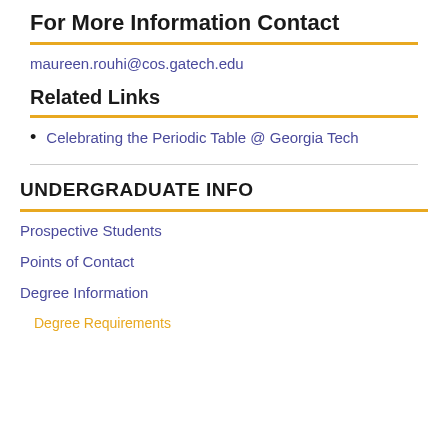For More Information Contact
maureen.rouhi@cos.gatech.edu
Related Links
Celebrating the Periodic Table @ Georgia Tech
UNDERGRADUATE INFO
Prospective Students
Points of Contact
Degree Information
Degree Requirements